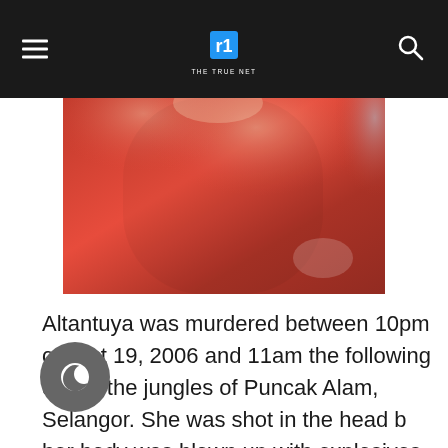THE TRUE NET
[Figure (photo): Photo of a person wearing a red t-shirt, cropped to show torso and partial face/neck area]
Altantuya was murdered between 10pm on Oct 19, 2006 and 11am the following day in the jungles of Puncak Alam, Selangor. She was shot in the head b[ut] her body was blown up with explosives.